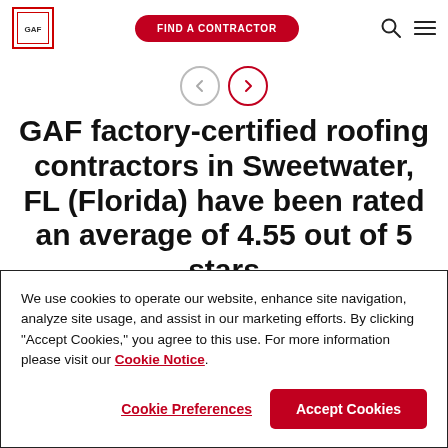GAF | FIND A CONTRACTOR
GAF factory-certified roofing contractors in Sweetwater, FL (Florida) have been rated an average of 4.55 out of 5 stars
We use cookies to operate our website, enhance site navigation, analyze site usage, and assist in our marketing efforts. By clicking "Accept Cookies," you agree to this use. For more information please visit our Cookie Notice.
Cookie Preferences | Accept Cookies